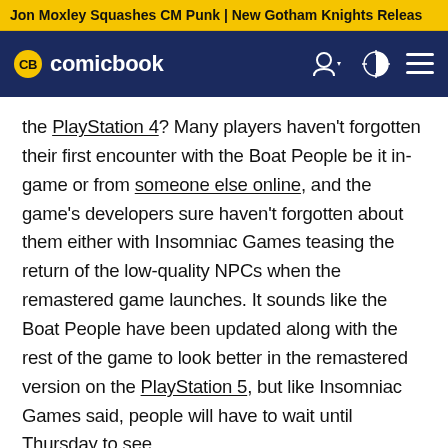Jon Moxley Squashes CM Punk | New Gotham Knights Releas
[Figure (logo): ComicBook.com logo with CB yellow circular badge and white text on dark navy navigation bar with user, theme toggle, and hamburger menu icons]
the PlayStation 4? Many players haven't forgotten their first encounter with the Boat People be it in-game or from someone else online, and the game's developers sure haven't forgotten about them either with Insomniac Games teasing the return of the low-quality NPCs when the remastered game launches. It sounds like the Boat People have been updated along with the rest of the game to look better in the remastered version on the PlayStation 5, but like Insomniac Games said, people will have to wait until Thursday to see.